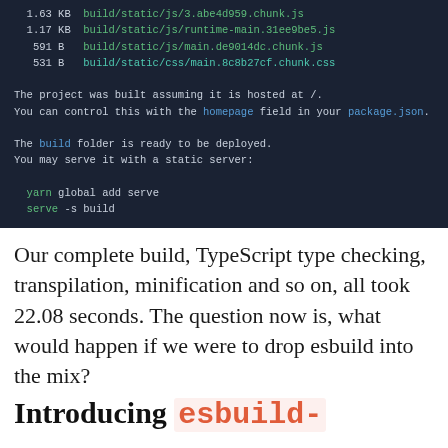[Figure (screenshot): Terminal/console output showing build file sizes and deployment instructions for a React app, with colored text on a dark background. Shows file sizes (1.63 KB, 1.17 KB, 591 B, 531 B), project hosting message, build folder deployment instructions with yarn/serve commands, deployment URL https://cra.link/deployment, and npm run build timing: 22.08s user 1.33s system 200% cpu 11.673 total]
Our complete build, TypeScript type checking, transpilation, minification and so on, all took 22.08 seconds. The question now is, what would happen if we were to drop esbuild into the mix?
Introducing esbuild-